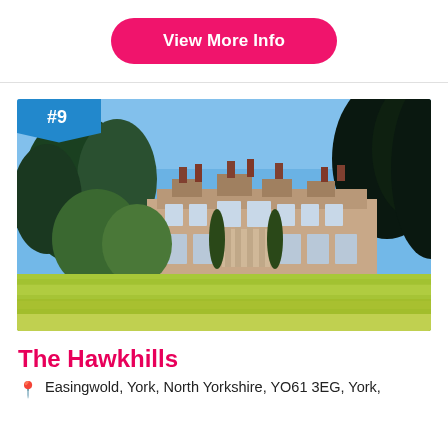View More Info
[Figure (photo): Exterior photo of The Hawkhills, a large Victorian red-brick manor house set in manicured lawns with tall trees under a clear blue sky. Badge overlay shows #9 in the top-left corner.]
The Hawkhills
Easingwold, York, North Yorkshire, YO61 3EG, York,